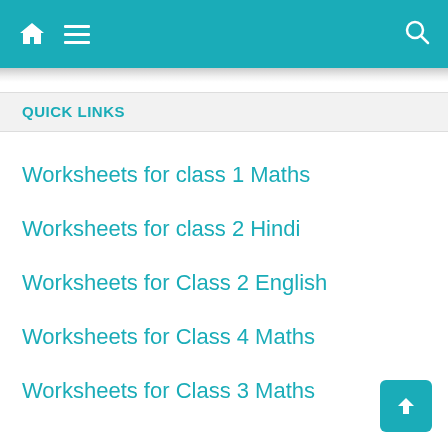Navigation bar with home, menu, and search icons
QUICK LINKS
Worksheets for class 1 Maths
Worksheets for class 2 Hindi
Worksheets for Class 2 English
Worksheets for Class 4 Maths
Worksheets for Class 3 Maths